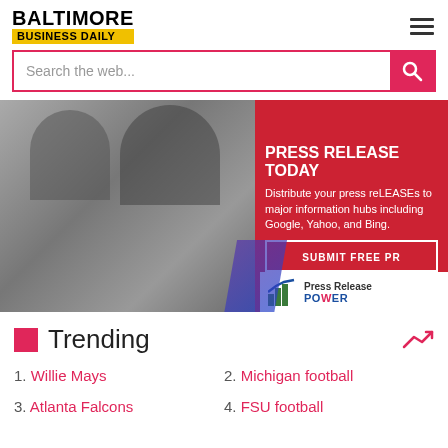BALTIMORE BUSINESS DAILY
Search the web...
[Figure (infographic): Advertisement banner for Press Release Power. Left half is a black and white photo of two women at a table using phones. Right half is a red panel with bold white text: PRESS RELEASE TODAY - Distribute your press reLEASEs to major information hubs including Google, Yahoo, and Bing. A white outlined button says SUBMIT FREE PR. Bottom shows Press Release Power logo with green and blue chart icon.]
Trending
1. Willie Mays
2. Michigan football
3. Atlanta Falcons
4. FSU football